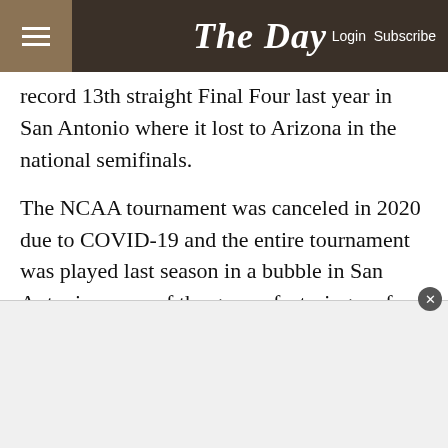The Day — Login Subscribe
record 13th straight Final Four last year in San Antonio where it lost to Arizona in the national semifinals.
The NCAA tournament was canceled in 2020 due to COVID-19 and the entire tournament was played last season in a bubble in San Antonio, some of the games featuring no fans and some with limited attendance. To reach the Final Four this season, UConn would potentially play two games at Gampel Pavilion, followed by Sweet 16 and Elite 8 matchups in Bridgeport.
"They've experienced no tournament, some of our players